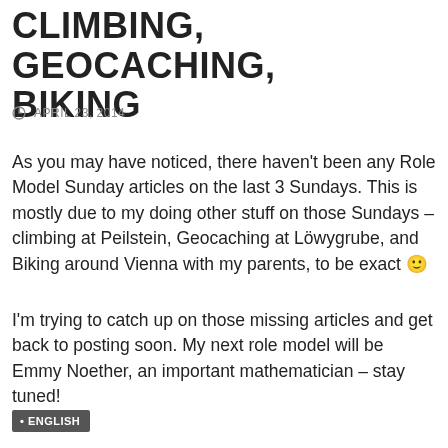CLIMBING, GEOCACHING, BIKING
⊙ APRIL 23, 2014
As you may have noticed, there haven't been any Role Model Sunday articles on the last 3 Sundays. This is mostly due to my doing other stuff on those Sundays – climbing at Peilstein, Geocaching at Löwygrube, and Biking around Vienna with my parents, to be exact 🙂
I'm trying to catch up on those missing articles and get back to posting soon. My next role model will be Emmy Noether, an important mathematician – stay tuned!
• ENGLISH